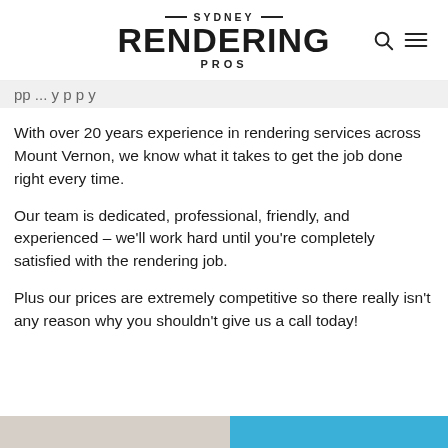SYDNEY RENDERING PROS
With over 20 years experience in rendering services across Mount Vernon, we know what it takes to get the job done right every time.
Our team is dedicated, professional, friendly, and experienced – we'll work hard until you're completely satisfied with the rendering job.
Plus our prices are extremely competitive so there really isn't any reason why you shouldn't give us a call today!